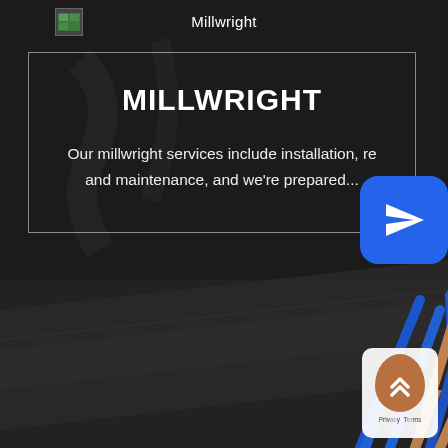Millwright
MILLWRIGHT
Our millwright services include installation, re... and maintenance, and we're prepared...
[Figure (illustration): Blue rounded-square button with white paper airplane / send icon]
[Figure (illustration): Dark industrial background with diagonal metal rods/tubes in blue and tan/copper colors in lower half of page]
[Figure (illustration): Scroll-to-top button with tan/brown oval icon with double chevron up arrows, white card background, Privacy/Terms text below]